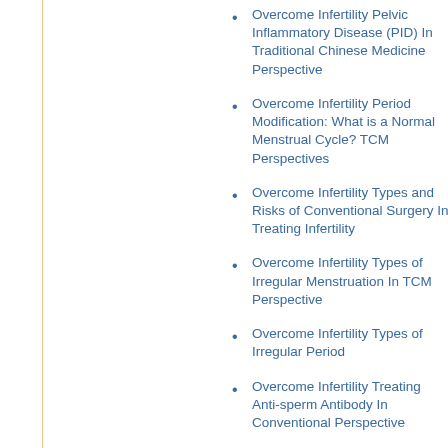Overcome Infertility Pelvic Inflammatory Disease (PID) In Traditional Chinese Medicine Perspective
Overcome Infertility Period Modification: What is a Normal Menstrual Cycle? TCM Perspectives
Overcome Infertility Types and Risks of Conventional Surgery In Treating Infertility
Overcome Infertility Types of Irregular Menstruation In TCM Perspective
Overcome Infertility Types of Irregular Period
Overcome Infertility Treating Anti-sperm Antibody In Conventional Perspective